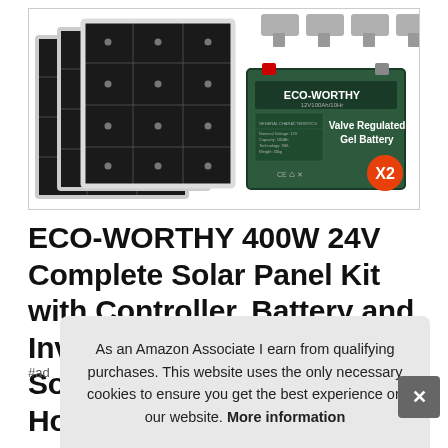[Figure (photo): Product photo showing ECO-WORTHY solar panel kit: three black solar panels on the left, and on the right an ECO-WORTHY green Valve Regulated Gel Battery with X2 orange badge indicating two batteries, plus mounting brackets above.]
ECO-WORTHY 400W 24V Complete Solar Panel Kit with Controller, Battery and Inverter Off Grid 1.6KWH Solar Power System Kit for Home House Sh
#ad
As an Amazon Associate I earn from qualifying purchases. This website uses the only necessary cookies to ensure you get the best experience on our website. More information